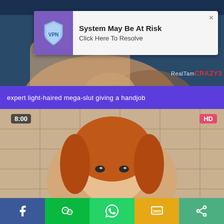[Figure (screenshot): Top video thumbnail showing two people, partially obscured by a VPN popup notification overlay]
System May Be At Risk
Click Here To Resolve
expert light-haired mega-slut giving a handjob
[Figure (screenshot): Bottom video thumbnail showing a red-haired person looking up at camera, with 8:00 time badge and HD badge]
[Figure (infographic): Bottom share bar with Facebook, WeChat, WhatsApp, SMS, and Share icons]